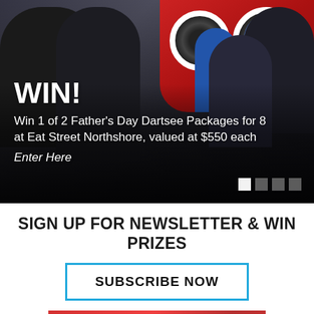[Figure (photo): People playing darts at Eat Street Northshore venue. Dark silhouetted figures in foreground, dartboards visible in red-lit background area. Text overlay reads WIN! with prize description.]
WIN!
Win 1 of 2 Father's Day Dartsee Packages for 8 at Eat Street Northshore, valued at $550 each
Enter Here
SIGN UP FOR NEWSLETTER & WIN PRIZES
SUBSCRIBE NOW
[Figure (photo): Partial view of a red promotional/product image at bottom of page]